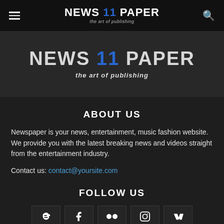NEWS 11 PAPER — the art of publishing
[Figure (screenshot): Hero banner with NEWS 11 PAPER logo and tagline 'the art of publishing' on dark background]
ABOUT US
Newspaper is your news, entertainment, music fashion website. We provide you with the latest breaking news and videos straight from the entertainment industry.
Contact us: contact@yoursite.com
FOLLOW US
[Figure (infographic): Social media icon buttons: Blogger, Facebook, Flickr, Instagram, VK]